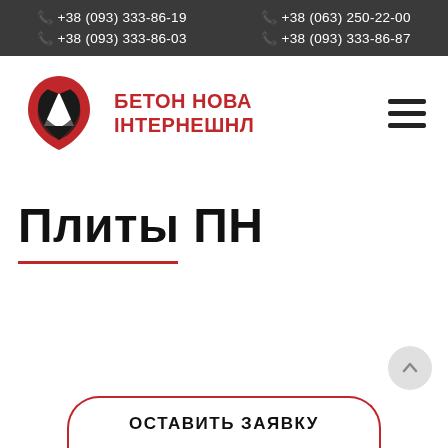+38 (093) 333-86-19  +38 (063) 250-22-00  +38 (093) 333-86-03  +38 (093) 333-86-87
[Figure (logo): Бетон Нова Інтернешнл company logo with red and black shield/droplet shape and Cyrillic text]
Плиты ПН
ОСТАВИТЬ ЗАЯВКУ